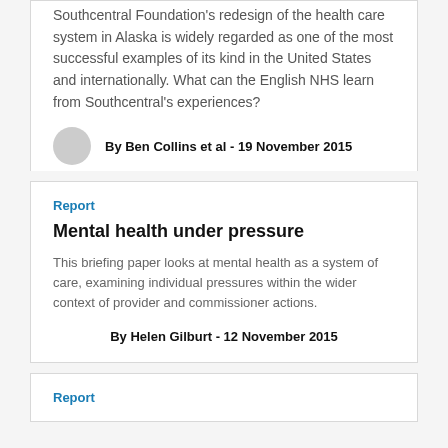Southcentral Foundation's redesign of the health care system in Alaska is widely regarded as one of the most successful examples of its kind in the United States and internationally. What can the English NHS learn from Southcentral's experiences?
By Ben Collins et al - 19 November 2015
Report
Mental health under pressure
This briefing paper looks at mental health as a system of care, examining individual pressures within the wider context of provider and commissioner actions.
By Helen Gilburt - 12 November 2015
Report